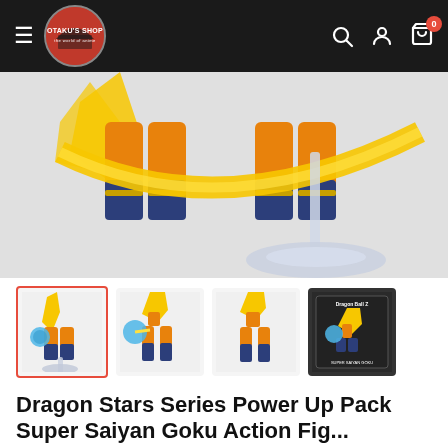Otaku's Shop
[Figure (photo): Dragon Ball Z Super Saiyan Goku action figure on a clear display stand, showing the lower body with yellow energy aura effect, orange gi, and dark blue boots with gold ties]
[Figure (photo): Four thumbnail images of the Dragon Stars Series Power Up Pack Super Saiyan Goku action figure: selected thumbnail showing figure on stand, full figure with Kamehameha effect, back of figure with energy aura, and product box]
Dragon Stars Series Power Up Pack Super Saiyan Goku Action Fig...